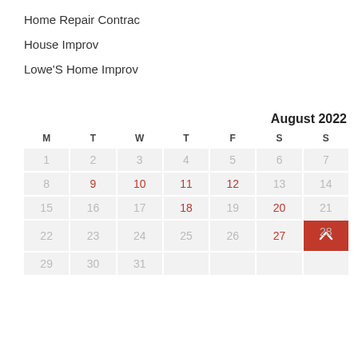Home Repair Contrac
House Improv
Lowe'S Home Improv
| M | T | W | T | F | S | S |
| --- | --- | --- | --- | --- | --- | --- |
| 1 | 2 | 3 | 4 | 5 | 6 | 7 |
| 8 | 9 | 10 | 11 | 12 | 13 | 14 |
| 15 | 16 | 17 | 18 | 19 | 20 | 21 |
| 22 | 23 | 24 | 25 | 26 | 27 | 28 |
| 29 | 30 | 31 |  |  |  |  |